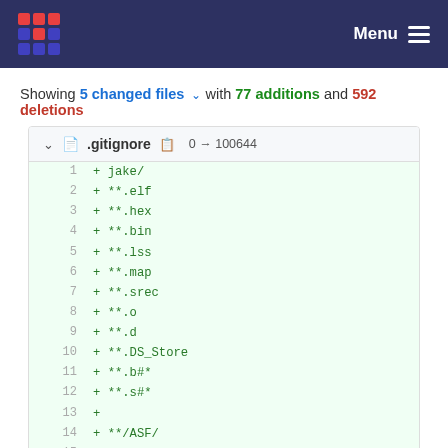Menu
Showing 5 changed files with 77 additions and 592 deletions
.gitignore  0 → 100644
1  + jake/
2  + **.elf
3  + **.hex
4  + **.bin
5  + **.lss
6  + **.map
7  + **.srec
8  + **.o
9  + **.d
10 + **.DS_Store
11 + **.b#*
12 + **.s#*
13 +
14 + **/ASF/
15 +